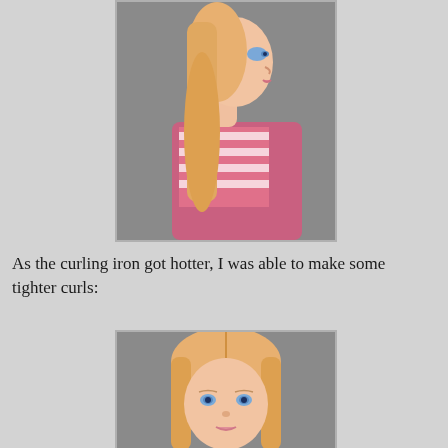[Figure (photo): Side profile of a doll with long straight blonde/strawberry-blonde hair, blue eyes, wearing a pink striped turtleneck and pink overalls, photographed against a grey background.]
As the curling iron got hotter, I was able to make some tighter curls:
[Figure (photo): Front view of a doll with long straight blonde hair with a center part and blue eyes, photographed against a grey background. Only the head and top of the body are visible.]